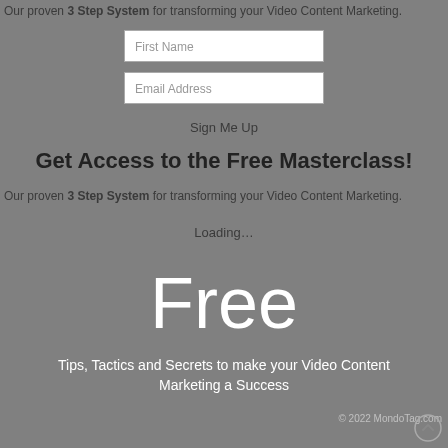Our proven 3 Step System for transforming your Video Content Marketing.
First Name
Email Address
Sign Me Up
Get Access to the Free Masterclass!
Our proven 3 Step System for transforming your Video Content Marketing.
Loading...
Free
Tips, Tactics and Secrets to make your Video Content Marketing a Success
© 2022 MondoTag.com